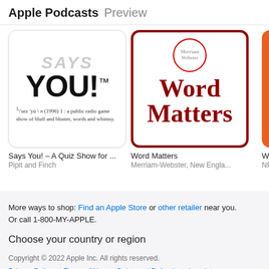Apple Podcasts Preview
[Figure (screenshot): Says You! podcast artwork showing 'YOU!' in large text with dictionary-style definition text and grayed 'SAYS' text in background]
Says You! – A Quiz Show for ...
Pipit and Finch
[Figure (screenshot): Word Matters podcast artwork with Merriam-Webster logo and bold red 'Word Matters' text on white background with dark red border]
Word Matters
Merriam-Webster, New Engla...
[Figure (screenshot): Partially visible orange podcast artwork]
Wa
NP
More ways to shop: Find an Apple Store or other retailer near you. Or call 1-800-MY-APPLE.
Choose your country or region
Copyright © 2022 Apple Inc. All rights reserved.
Privacy Policy | Terms of Use | Sales and Refunds | Legal | Site Map